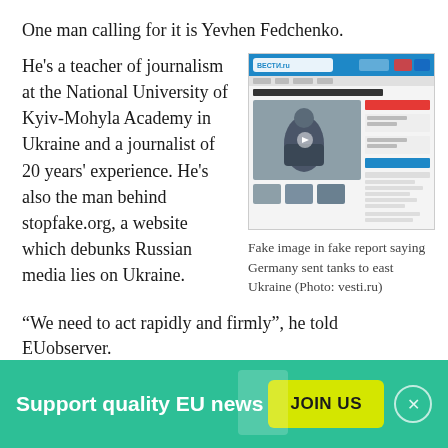One man calling for it is Yevhen Fedchenko.
He's a teacher of journalism at the National University of Kyiv-Mohyla Academy in Ukraine and a journalist of 20 years' experience. He's also the man behind stopfake.org, a website which debunks Russian media lies on Ukraine.
[Figure (screenshot): Screenshot of vesti.ru webpage with a Cyrillic headline and a photo of a soldier/military vehicle]
Fake image in fake report saying Germany sent tanks to east Ukraine (Photo: vesti.ru)
“We need to act rapidly and firmly”, he told EUobserver.
Support quality EU news   JOIN US